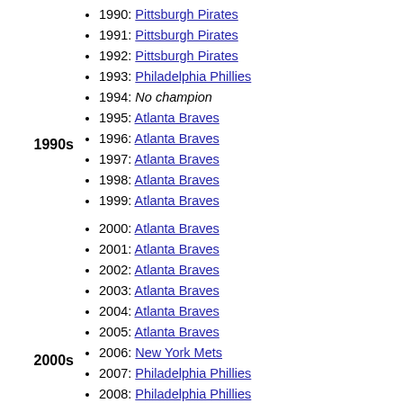1990: Pittsburgh Pirates
1991: Pittsburgh Pirates
1992: Pittsburgh Pirates
1993: Philadelphia Phillies
1994: No champion
1995: Atlanta Braves
1996: Atlanta Braves
1997: Atlanta Braves
1998: Atlanta Braves
1999: Atlanta Braves
2000: Atlanta Braves
2001: Atlanta Braves
2002: Atlanta Braves
2003: Atlanta Braves
2004: Atlanta Braves
2005: Atlanta Braves
2006: New York Mets
2007: Philadelphia Phillies
2008: Philadelphia Phillies
2009: Philadelphia Phillies
2010: Philadelphia Phillies
2011: Philadelphia Phillies
2012: Washington Nationals